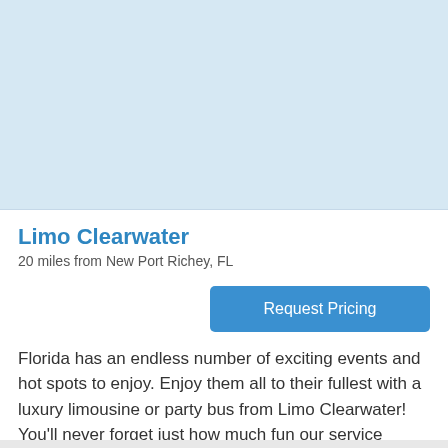[Figure (map): Light blue map area placeholder showing a geographic map region]
Limo Clearwater
20 miles from New Port Richey, FL
Request Pricing
Florida has an endless number of exciting events and hot spots to enjoy. Enjoy them all to their fullest with a luxury limousine or party bus from Limo Clearwater! You'll never forget just how much fun our service provided to your big day. The best part is